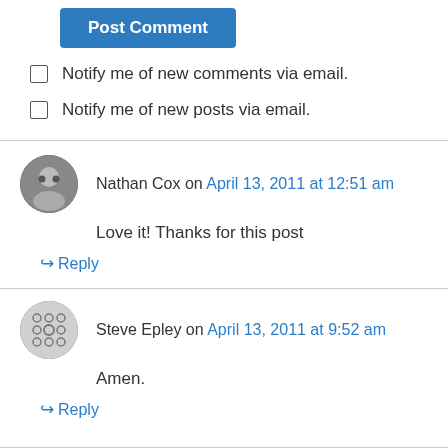Post Comment
Notify me of new comments via email.
Notify me of new posts via email.
Nathan Cox on April 13, 2011 at 12:51 am
Love it! Thanks for this post
↪ Reply
Steve Epley on April 13, 2011 at 9:52 am
Amen.
↪ Reply